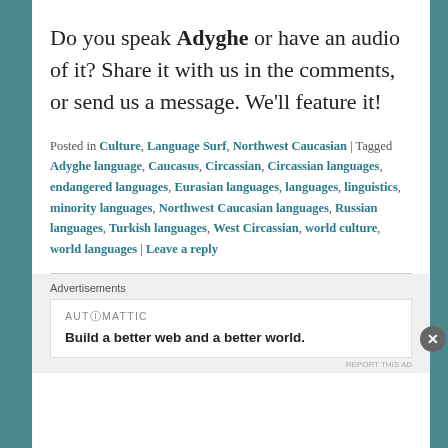Do you speak Adyghe or have an audio of it? Share it with us in the comments, or send us a message. We'll feature it!
Posted in Culture, Language Surf, Northwest Caucasian | Tagged Adyghe language, Caucasus, Circassian, Circassian languages, endangered languages, Eurasian languages, languages, linguistics, minority languages, Northwest Caucasian languages, Russian languages, Turkish languages, West Circassian, world culture, world languages | Leave a reply
Advertisements
AUTOMATTIC
Build a better web and a better world.